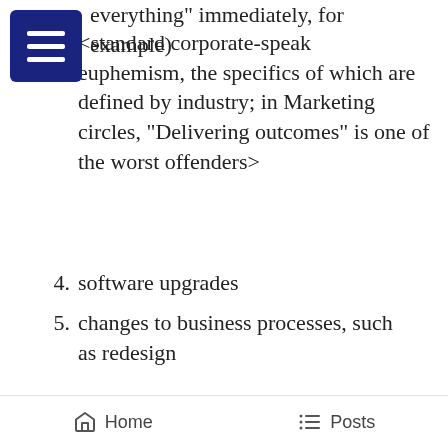everything” immediately, for example)
3. <standard corporate-speak euphemism, the specifics of which are defined by industry; in Marketing circles, “Delivering outcomes” is one of the worst offenders>
4. software upgrades
5. changes to business processes, such as redesign
Of the above, one could argue that only software upgrades and business process changes are really legitimate. And even
Home   Posts